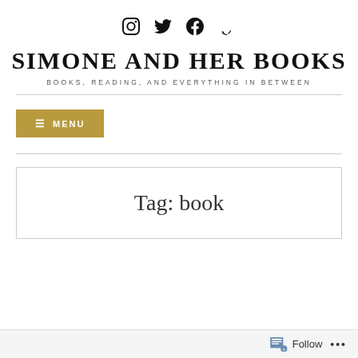[Figure (other): Social media icons: Instagram, Twitter, Facebook, Goodreads]
SIMONE AND HER BOOKS
BOOKS, READING, AND EVERYTHING IN BETWEEN
≡ MENU
Tag: book
Follow ...